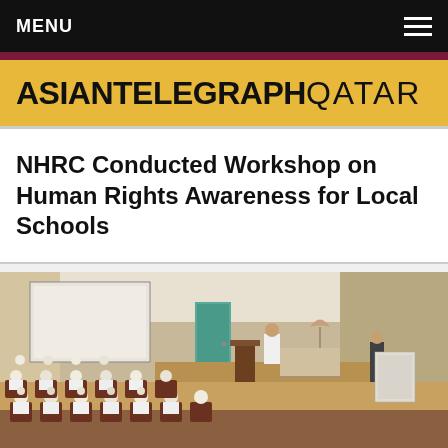MENU
ASIANTELEGRAPH QATAR
NHRC Conducted Workshop on Human Rights Awareness for Local Schools
[Figure (photo): Students seated in an auditorium hall attending a human rights awareness workshop, with a speaker standing at the front near a podium and display table.]